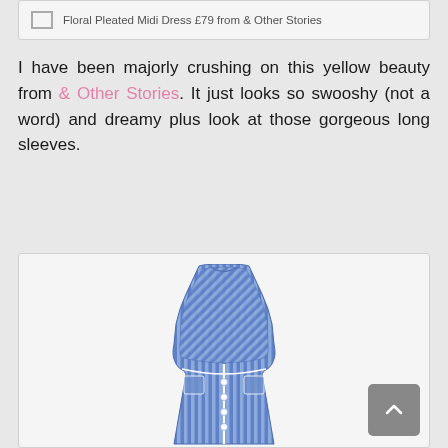Floral Pleated Midi Dress £79 from & Other Stories
I have been majorly crushing on this yellow beauty from & Other Stories. It just looks so swooshy (not a word) and dreamy plus look at those gorgeous long sleeves.
[Figure (photo): Blue and white striped sleeveless midi dress with button-front detail and pleated skirt]